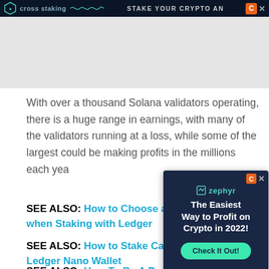cross staking | STAKE YOUR CRYPTO AN
With over a thousand Solana validators operating, there is a huge range in earnings, with many of the validators running at a loss, while some of the largest could be making profits in the millions each year.
SEE ALSO: How to Choose a … when Staking with Ledger
SEE ALSO: How to Stake Ca… Ledger Nano Wallet
SEE ALSO: How To Be A Profitable…
[Figure (screenshot): Zephyr advertisement popup: 'The Easiest Way to Profit on Crypto in 2022!' with a teal Check It Out! button on dark navy background]